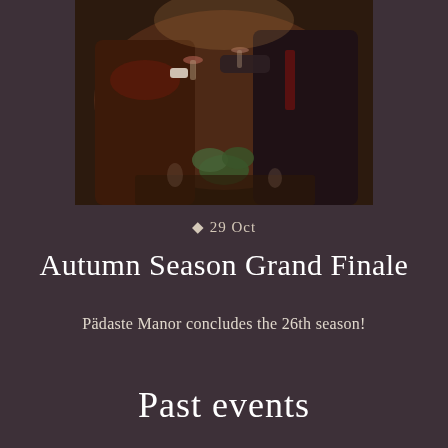[Figure (photo): Two people in formal attire at a dinner event, one holding a wine glass, with greenery and table settings visible in the background. Dark, warm-toned ambiance.]
♦ 29 Oct
Autumn Season Grand Finale
Pädaste Manor concludes the 26th season!
Past events